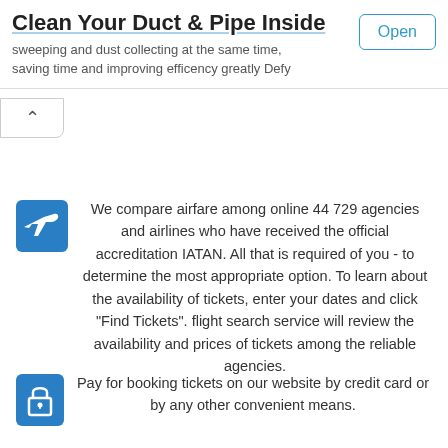Clean Your Duct & Pipe Inside
sweeping and dust collecting at the same time, saving time and improving efficency greatly Defy
Open
We compare airfare among online 44 729 agencies and airlines who have received the official accreditation IATAN. All that is required of you - to determine the most appropriate option. To learn about the availability of tickets, enter your dates and click "Find Tickets". flight search service will review the availability and prices of tickets among the reliable agencies.
Pay for booking tickets on our website by credit card or by any other convenient means.